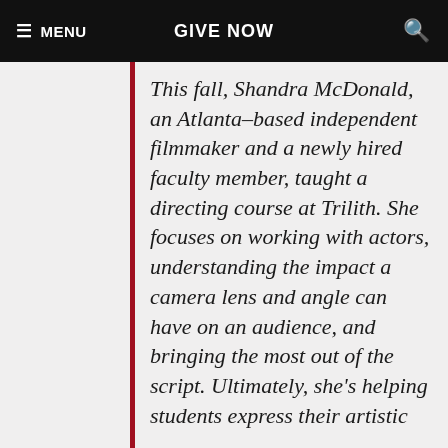MENU  GIVE NOW
This fall, Shandra McDonald, an Atlanta-based independent filmmaker and a newly hired faculty member, taught a directing course at Trilith. She focuses on working with actors, understanding the impact a camera lens and angle can have on an audience, and bringing the most out of the script. Ultimately, she’s helping students express their artistic